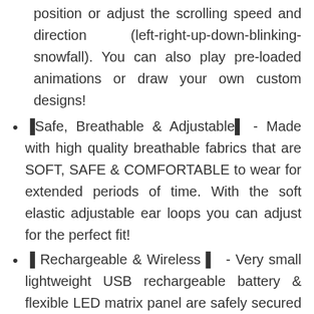position or adjust the scrolling speed and direction (left-right-up-down-blinking-snowfall). You can also play pre-loaded animations or draw your own custom designs!
▉Safe, Breathable & Adjustable▉ - Made with high quality breathable fabrics that are SOFT, SAFE & COMFORTABLE to wear for extended periods of time. With the soft elastic adjustable ear loops you can adjust for the perfect fit!
▉ Rechargeable & Wireless ▉ - Very small lightweight USB rechargeable battery & flexible LED matrix panel are safely secured inside so you don't have to worry about losing any pieces. Mask charge lasts up to 8-10 hours!
▉Suitable for multiple occasions▉- This LED light up Mask is fit face design with adjustable strap perfect for Christmas, Halloween, Costume Parties, Masquerades, Mardi Gras, Rave Festivals, Carnivals, and more. It is light and easy